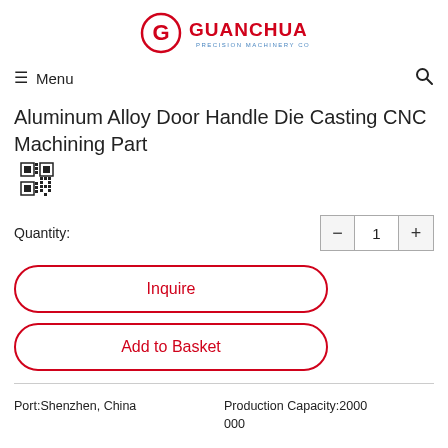[Figure (logo): GuanChuang Precision Machinery Co., Ltd. logo with red G circle and red/blue text]
≡  Menu
Aluminum Alloy Door Handle Die Casting CNC Machining Part
Quantity: 1
Inquire
Add to Basket
Port:Shenzhen, China
Production Capacity:2000 000
Payment Terms:L/C, T/T,
Model NO.:GC20147